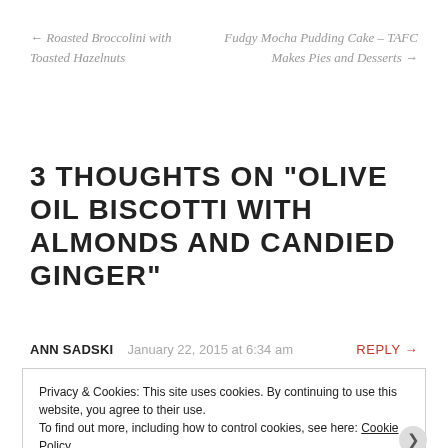← Roasted Broccolini with Toasted Hazelnuts
Fudgy Mocha Pudding Cake – TAFC Makes Pies and Desserts →
3 THOUGHTS ON "OLIVE OIL BISCOTTI WITH ALMONDS AND CANDIED GINGER"
ANN SADSKI   January 22, 2015 at 6:34 am   REPLY →
Privacy & Cookies: This site uses cookies. By continuing to use this website, you agree to their use. To find out more, including how to control cookies, see here: Cookie Policy
Close and accept